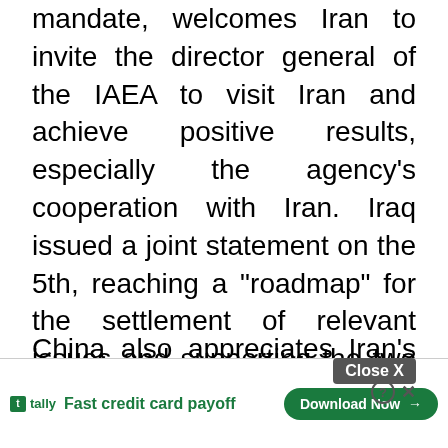mandate, welcomes Iran to invite the director general of the IAEA to visit Iran and achieve positive results, especially the agency's cooperation with Iran. Iraq issued a joint statement on the 5th, reaching a "roadmap" for the settlement of relevant issues and supporting the two sides to continue to resolve differences through dialogue.
China also appreciates Iran's constructive attitude in this regard.
Wang Chang emphasized that the agency's board of directors had passed a resolution in 2015 to draw conclusion on the possil [ad overlay] clear progr...